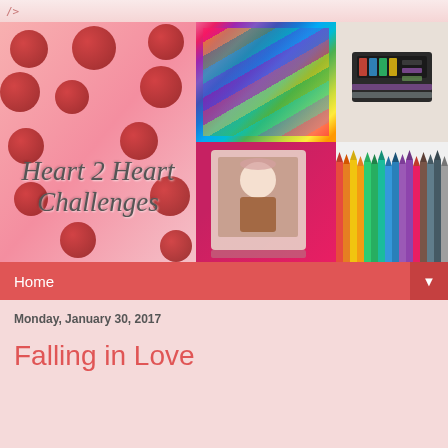/>
[Figure (illustration): Heart 2 Heart Challenges blog banner with pink polka dot background on the left showing cursive text 'Heart 2 Heart Challenges', and a 2x2 grid on the right showing: color swatches/fan deck, a black craft cutting machine, a photo frame with a girl on a tablet on red background, and a row of colored pencils]
Home ▼
Monday, January 30, 2017
Falling in Love